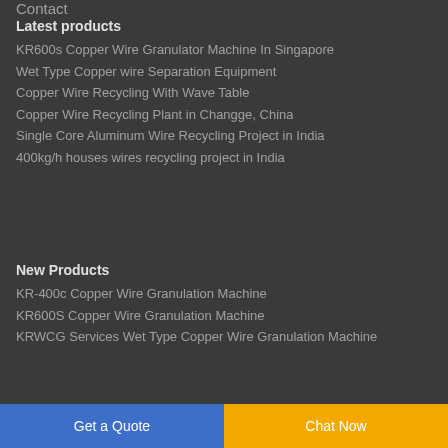Contact
Latest products
KR600s Copper Wire Granulator Machine In Singapore
Wet Type Copper wire Separation Equipment
Copper Wire Recycling With Wave Table
Copper Wire Recycling Plant in Changge, China
Single Core Aluminum Wire Recycling Project in India
400kg/h houses wires recycling project in India
New Products
KR-400c Copper Wire Granulation Machine
KR600S Copper Wire Granulation Machine
KRWCG Services Wet Type Copper Wire Granulation Machine
Get a Quote | Chat Now